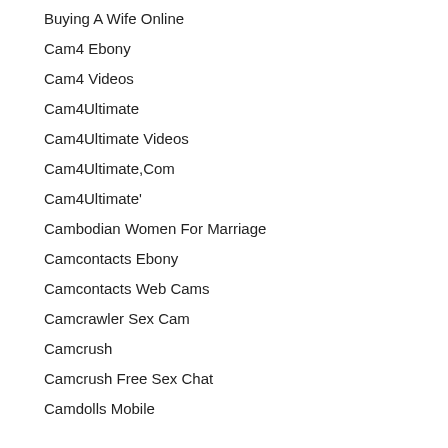Buying A Wife Online
Cam4 Ebony
Cam4 Videos
Cam4Ultimate
Cam4Ultimate Videos
Cam4Ultimate,Com
Cam4Ultimate'
Cambodian Women For Marriage
Camcontacts Ebony
Camcontacts Web Cams
Camcrawler Sex Cam
Camcrush
Camcrush Free Sex Chat
Camdolls Mobile